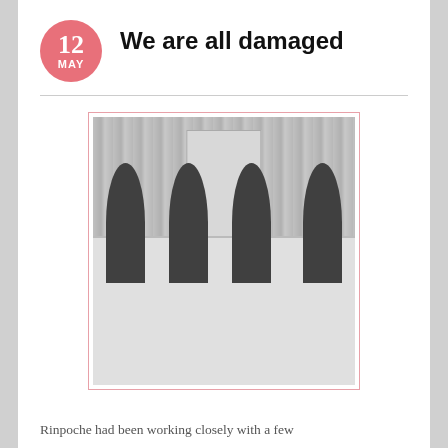12 MAY
We are all damaged
[Figure (photo): Black and white photograph of four children sitting around a dinner table eating with chopsticks, with curtains and a scroll painting visible in the background.]
Rinpoche had been working closely with a few